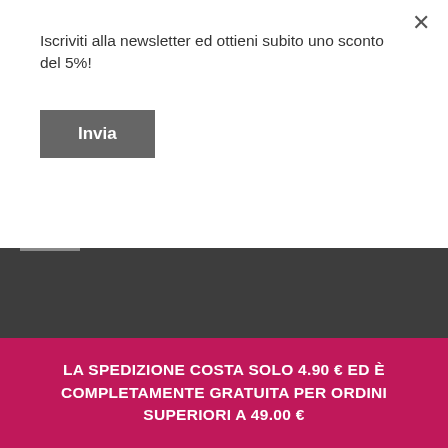Iscriviti alla newsletter ed ottieni subito uno sconto del 5%!
×
Invia
[Figure (screenshot): Dark header bar with search field and shopping cart showing CARRELLO (empty)]
LA SPEDIZIONE COSTA SOLO 4.90 € ED È COMPLETAMENTE GRATUITA PER ORDINI SUPERIORI A 49.00 €
Home > EMMEBI > Zer035 Repulp
CATEGORIES
ZER035 REPULP/ There are 6 products.